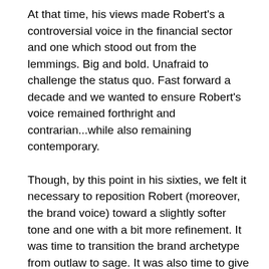At that time, his views made Robert's a controversial voice in the financial sector and one which stood out from the lemmings. Big and bold. Unafraid to challenge the status quo. Fast forward a decade and we wanted to ensure Robert's voice remained forthright and contrarian...while also remaining contemporary.
Though, by this point in his sixties, we felt it necessary to reposition Robert (moreover, the brand voice) toward a slightly softer tone and one with a bit more refinement. It was time to transition the brand archetype from outlaw to sage. It was also time to give Robert and Kim their day-to-day lives back.
In the likeness of Colonel Sanders (the embodiment of the fried chicken empire) we wanted Robert on the